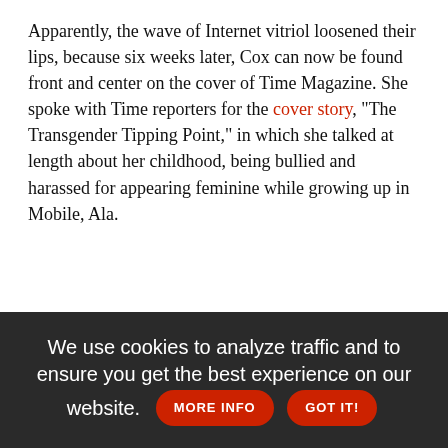Apparently, the wave of Internet vitriol loosened their lips, because six weeks later, Cox can now be found front and center on the cover of Time Magazine. She spoke with Time reporters for the cover story, "The Transgender Tipping Point," in which she talked at length about her childhood, being bullied and harassed for appearing feminine while growing up in Mobile, Ala.
We use cookies to analyze traffic and to ensure you get the best experience on our website. MORE INFO GOT IT!